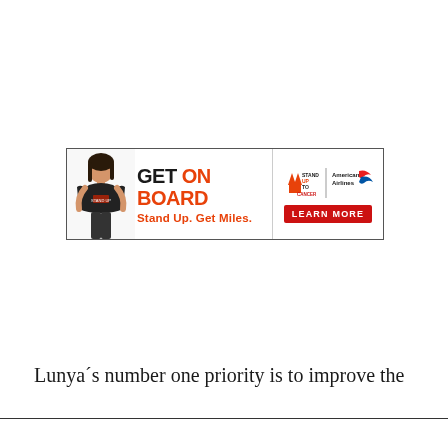[Figure (infographic): Advertisement banner: 'GET ON BOARD – Stand Up. Get Miles.' with Stand Up To Cancer and American Airlines logos and a 'LEARN MORE' button. Features a woman in a black t-shirt.]
Lunya´s number one priority is to improve the